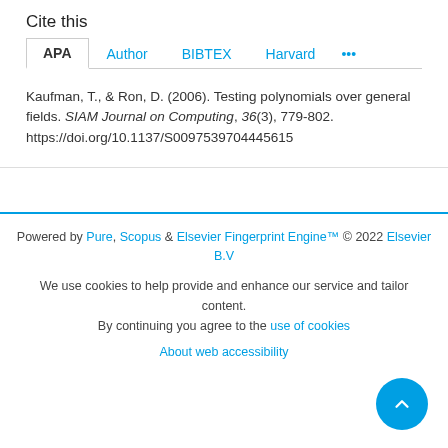Cite this
APA  Author  BIBTEX  Harvard ...
Kaufman, T., & Ron, D. (2006). Testing polynomials over general fields. SIAM Journal on Computing, 36(3), 779-802. https://doi.org/10.1137/S0097539704445615
Powered by Pure, Scopus & Elsevier Fingerprint Engine™ © 2022 Elsevier B.V
We use cookies to help provide and enhance our service and tailor content. By continuing you agree to the use of cookies
About web accessibility